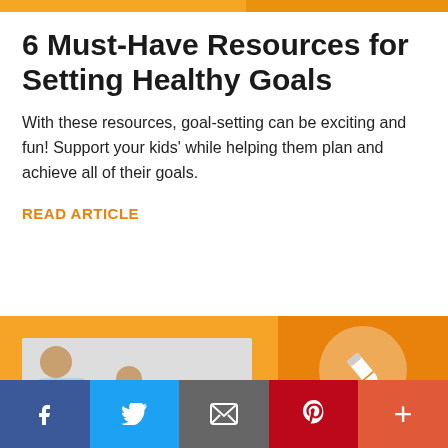6 Must-Have Resources for Setting Healthy Goals
With these resources, goal-setting can be exciting and fun! Support your kids' while helping them plan and achieve all of their goals.
READ ARTICLE
[Figure (photo): Adult man and child smiling and gesturing, with orange background and a pencil icon circle on the right side. BLOG label at bottom right.]
[Figure (infographic): Social media share bar with Facebook, Twitter, Email, Pinterest, and More buttons]